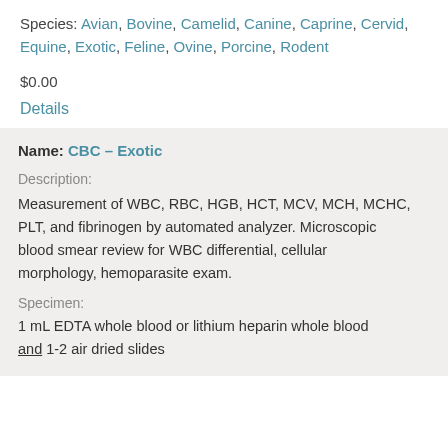Species: Avian, Bovine, Camelid, Canine, Caprine, Cervid, Equine, Exotic, Feline, Ovine, Porcine, Rodent
$0.00
Details
Name: CBC – Exotic
Description:
Measurement of WBC, RBC, HGB, HCT, MCV, MCH, MCHC, PLT, and fibrinogen by automated analyzer. Microscopic blood smear review for WBC differential, cellular morphology, hemoparasite exam.
Specimen:
1 mL EDTA whole blood or lithium heparin whole blood and 1-2 air dried slides